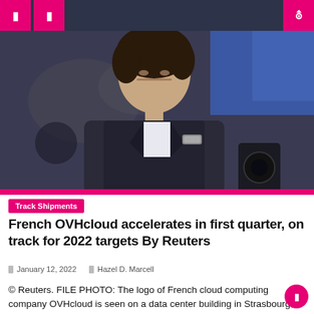[ ] [  ] [search]
[Figure (photo): A man in a suit resting his chin on his hand, looking at screens, with a monitor showing blue content in the background. Financial trading floor setting.]
Track Shipments
French OVHcloud accelerates in first quarter, on track for 2022 targets By Reuters
January 12, 2022   Hazel D. Marcell
© Reuters. FILE PHOTO: The logo of French cloud computing company OVHcloud is seen on a data center building in Strasbourg, France, October 12, 2021. REUTERS / Christian